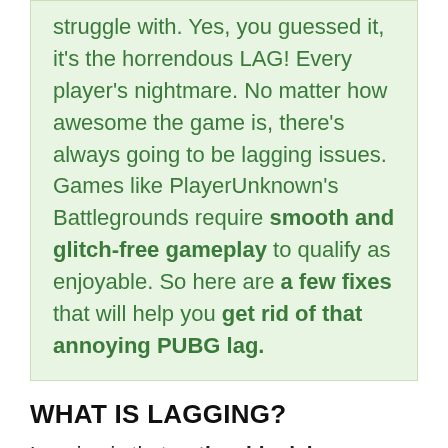struggle with. Yes, you guessed it, it's the horrendous LAG! Every player's nightmare. No matter how awesome the game is, there's always going to be lagging issues. Games like PlayerUnknown's Battlegrounds require smooth and glitch-free gameplay to qualify as enjoyable. So here are a few fixes that will help you get rid of that annoying PUBG lag.
WHAT IS LAGGING?
Lagging is that noticeable delay between the players' actions and that of the server's in the video game. This is either caused by a slow Internet connection or a slow computer/device. High traffic levels are apparent in a multi-player game like